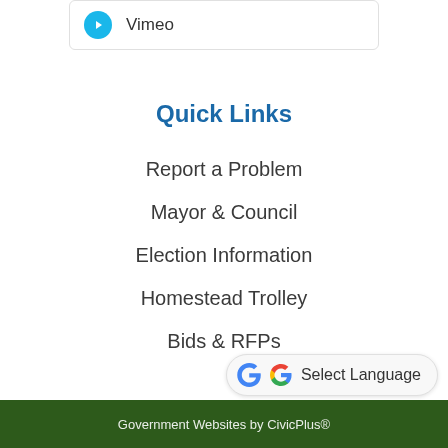Vimeo
Quick Links
Report a Problem
Mayor & Council
Election Information
Homestead Trolley
Bids & RFPs
Government Websites by CivicPlus®